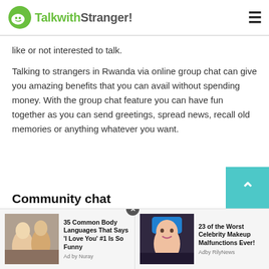TalkwithStranger!
like or not interested to talk.
Talking to strangers in Rwanda via online group chat can give you amazing benefits that you can avail without spending money. With the group chat feature you can have fun together as you can send greetings, spread news, recall old memories or anything whatever you want.
Community chat
[Figure (other): Two ad units at bottom: (1) couple photo with headline '35 Common Body Languages That Says I Love You #1 Is So Funny', Ad by Nuray; (2) woman with blue hair photo with headline '23 of the Worst Celebrity Makeup Malfunctions Ever!', Adby RilyNews. Close button (X) between them.]